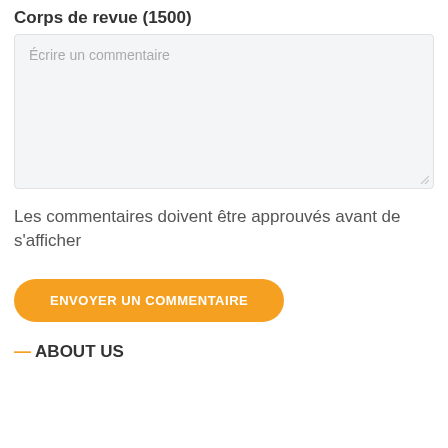Corps de revue (1500)
[Figure (screenshot): A light grey textarea input box with placeholder text 'Écrire un commentaire' and a resize handle in the bottom right corner.]
Les commentaires doivent être approuvés avant de s'afficher
ENVOYER UN COMMENTAIRE
ABOUT US